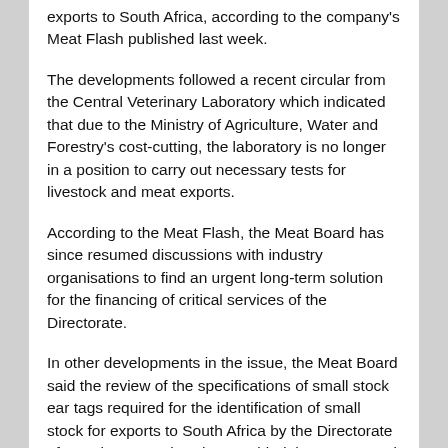exports to South Africa, according to the company's Meat Flash published last week.
The developments followed a recent circular from the Central Veterinary Laboratory which indicated that due to the Ministry of Agriculture, Water and Forestry's cost-cutting, the laboratory is no longer in a position to carry out necessary tests for livestock and meat exports.
According to the Meat Flash, the Meat Board has since resumed discussions with industry organisations to find an urgent long-term solution for the financing of critical services of the Directorate.
In other developments in the issue, the Meat Board said the review of the specifications of small stock ear tags required for the identification of small stock for exports to South Africa by the Directorate of Veterinary Services has enabled the Meat Board to obtain official ear tags at 60% cheaper than the existing ear tags.